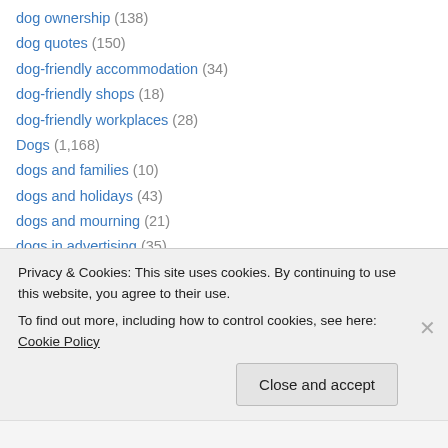dog ownership (138)
dog quotes (150)
dog-friendly accommodation (34)
dog-friendly shops (18)
dog-friendly workplaces (28)
Dogs (1,168)
dogs and families (10)
dogs and holidays (43)
dogs and mourning (21)
dogs in advertising (35)
ethics and pet rights (5)
Humor/humour (37)
lost dogs (2)
Privacy & Cookies: This site uses cookies. By continuing to use this website, you agree to their use. To find out more, including how to control cookies, see here: Cookie Policy
Close and accept